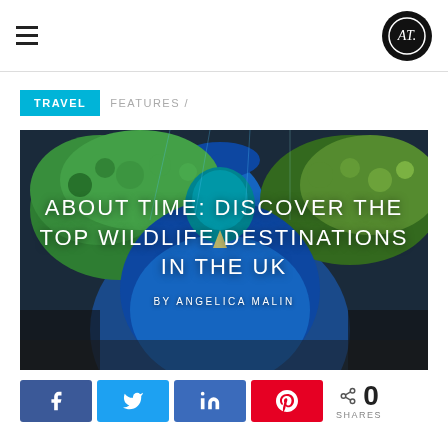AT logo and hamburger menu
TRAVEL  FEATURES /
[Figure (photo): Close-up photo of a peacock with vivid blue and green feathers, overlaid with the article title 'ABOUT TIME: DISCOVER THE TOP WILDLIFE DESTINATIONS IN THE UK' and byline 'BY ANGELICA MALIN']
0 SHARES